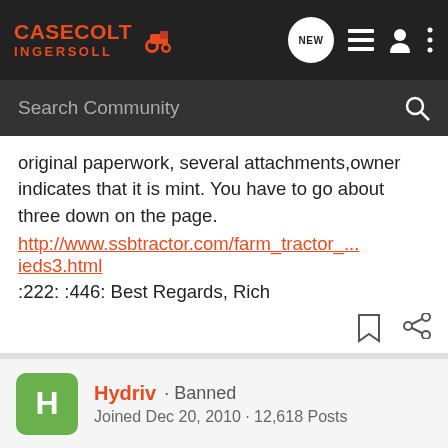Case Colt Ingersoll - NEW (icon) - list icon - user icon - dots icon
Search Community
original paperwork, several attachments,owner indicates that it is mint. You have to go about three down on the page.
http://www.ssbtractor.com/farm_tractor_... ieds3.html
:222: :446: Best Regards, Rich
Hydriv · Banned
Joined Dec 20, 2010 · 12,618 Posts
#2 · Jan 22, 2011
We have the thread started by Caseracer on this forum and this tractor is exactly what he used to make one of his hotrods. Of course, I wouldn't want to pay anywhere near the asking price